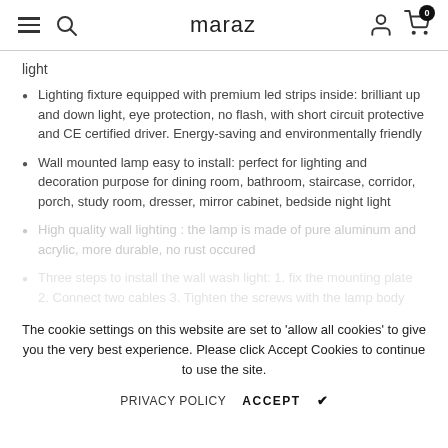maraz
light
Lighting fixture equipped with premium led strips inside: brilliant up and down light, eye protection, no flash, with short circuit protective and CE certified driver. Energy-saving and environmentally friendly
Wall mounted lamp easy to install: perfect for lighting and decoration purpose for dining room, bathroom, staircase, corridor, porch, study room, dresser, mirror cabinet, bedside night light
High quality wall lighting : the lamp is made of pure aluminum and acrylic, more durable, no rust occured
Three steps to install the wall wash light: 1. fix the mounting plate 2. Connect two cables 3. Tighten the screws with the lamp body attached to the plate, finish
The cookie settings on this website are set to 'allow all cookies' to give you the very best experience. Please click Accept Cookies to continue to use the site.
PRIVACY POLICY   ACCEPT ✔